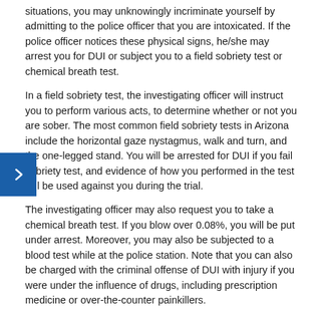situations, you may unknowingly incriminate yourself by admitting to the police officer that you are intoxicated. If the police officer notices these physical signs, he/she may arrest you for DUI or subject you to a field sobriety test or chemical breath test.
In a field sobriety test, the investigating officer will instruct you to perform various acts, to determine whether or not you are sober. The most common field sobriety tests in Arizona include the horizontal gaze nystagmus, walk and turn, and the one-legged stand. You will be arrested for DUI if you fail sobriety test, and evidence of how you performed in the test will be used against you during the trial.
The investigating officer may also request you to take a chemical breath test. If you blow over 0.08%, you will be put under arrest. Moreover, you may also be subjected to a blood test while at the police station. Note that you can also be charged with the criminal offense of DUI with injury if you were under the influence of drugs, including prescription medicine or over-the-counter painkillers.
2. Failing to Observe a Traffic Law or Acting in a Negligent or Reckless